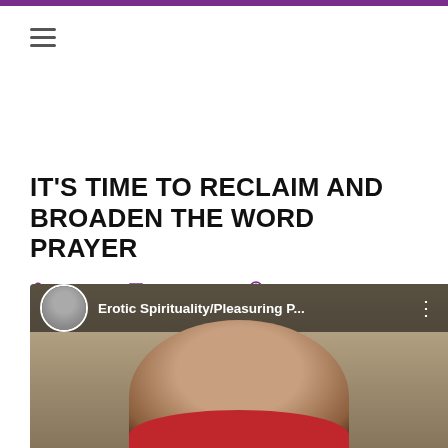IT'S TIME TO RECLAIM AND BROADEN THE WORD PRAYER
Kirk Prine   The Question   10 February 2015   Hits: 3436
[Figure (screenshot): YouTube video thumbnail showing 'Erotic Spirituality/Pleasuring P...' with a channel avatar and a person's face with a red covering at the bottom]